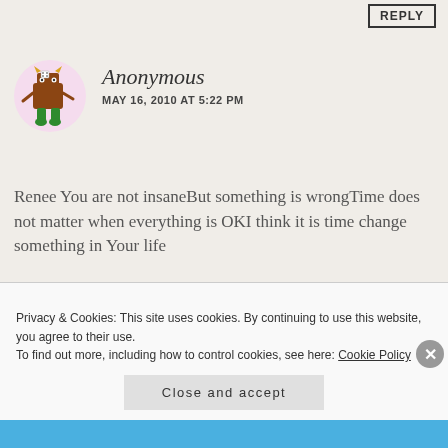REPLY
[Figure (illustration): Cartoon avatar: brown square-bodied character with green legs and yellow horns on a pink circular background]
Anonymous
MAY 16, 2010 AT 5:22 PM
Renee You are not insaneBut something is wrongTime does not matter when everything is OKI think it is time change something in Your life
REPLY
[Figure (illustration): Cartoon avatar: brown square-bodied character with green legs and yellow horns on a pink circular background]
Renee Miller
MAY 16, 2010 AT 6:47 PM
Privacy & Cookies: This site uses cookies. By continuing to use this website, you agree to their use.
To find out more, including how to control cookies, see here: Cookie Policy
Close and accept